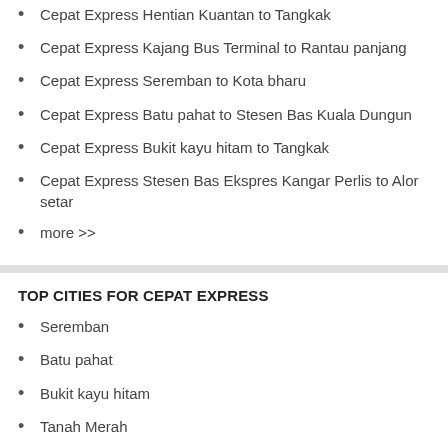Cepat Express Hentian Kuantan to Tangkak
Cepat Express Kajang Bus Terminal to Rantau panjang
Cepat Express Seremban to Kota bharu
Cepat Express Batu pahat to Stesen Bas Kuala Dungun
Cepat Express Bukit kayu hitam to Tangkak
Cepat Express Stesen Bas Ekspres Kangar Perlis to Alor setar
more >>
TOP CITIES FOR CEPAT EXPRESS
Seremban
Batu pahat
Bukit kayu hitam
Tanah Merah
Ayer Hitam
Kangar